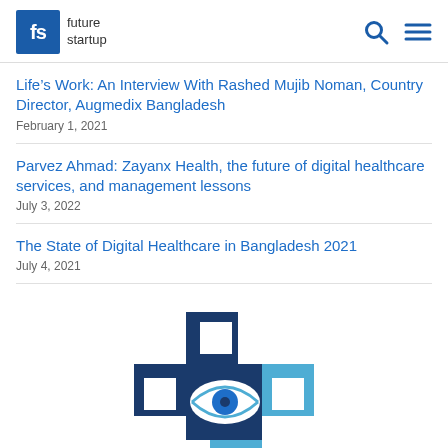fs future startup
Life’s Work: An Interview With Rashed Mujib Noman, Country Director, Augmedix Bangladesh
February 1, 2021
Parvez Ahmad: Zayanx Health, the future of digital healthcare services, and management lessons
July 3, 2022
The State of Digital Healthcare in Bangladesh 2021
July 4, 2021
[Figure (logo): Medical/healthcare logo: a blue cross shape with an eye motif in the center, in dark navy and light blue colors]